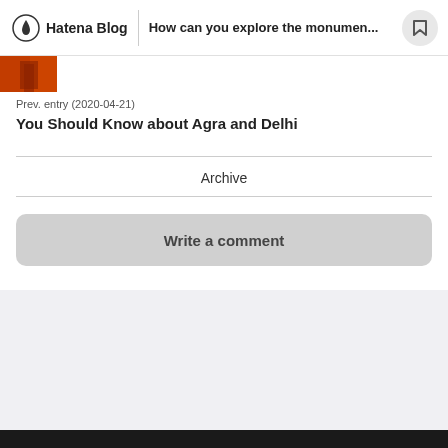Hatena Blog | How can you explore the monumen...
[Figure (photo): Small thumbnail image of a monument, reddish-orange tones]
Prev. entry (2020-04-21)
You Should Know about Agra and Delhi
Archive
Write a comment